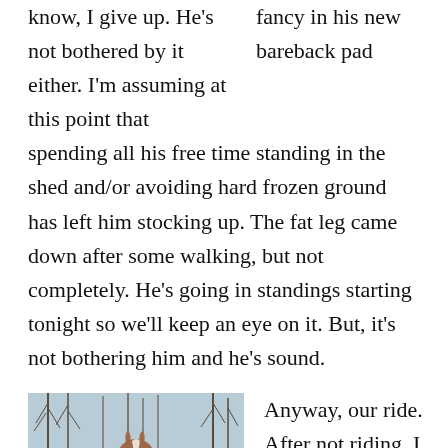know, I give up. He's not bothered by it either. I'm assuming at this point that
fancy in his new bareback pad
spending all his free time standing in the shed and/or avoiding hard frozen ground has left him stocking up. The fat leg came down after some walking, but not completely. He's going in standings starting tonight so we'll keep an eye on it. But, it's not bothering him and he's sound.
[Figure (photo): A horse's face seen from slightly above, with bare winter trees in the background.]
Anyway, our ride. After not riding, I